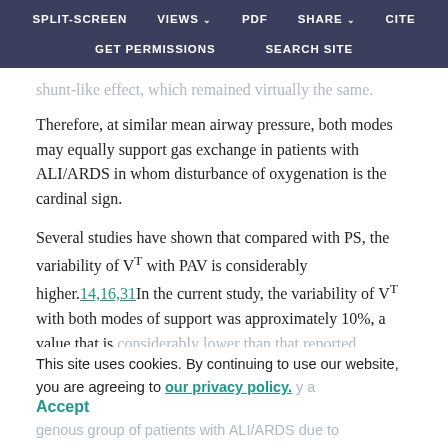SPLIT-SCREEN   VIEWS   PDF   SHARE   CITE   GET PERMISSIONS   SEARCH SITE
shunt-like effect, which remained virtually the same.
Therefore, at similar mean airway pressure, both modes may equally support gas exchange in patients with ALI/ARDS in whom disturbance of oxygenation is the cardinal sign.
Several studies have shown that compared with PS, the variability of Vᵀ with PAV is considerably higher.14,16,31 In the current study, the variability of Vᵀ with both modes of support was approximately 10%, a value that is considerably lower than that reported previously, at least
This site uses cookies. By continuing to use our website, you are agreeing to our privacy policy. Accept ... a homogenous group of patients with ALI/ARDS due to